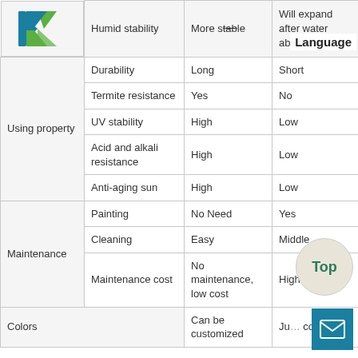|  | Property | WPC/Composite | Wood |
| --- | --- | --- | --- |
| [logo] | Humid stability | More stable | Will expand after water absorption |
| Using property | Durability | Long | Short |
| Using property | Termite resistance | Yes | No |
| Using property | UV stability | High | Low |
| Using property | Acid and alkali resistance | High | Low |
| Using property | Anti-aging sun | High | Low |
| Maintenance | Painting | No Need | Yes |
| Maintenance | Cleaning | Easy | Middle |
| Maintenance | Maintenance cost | No maintenance, low cost | High cost |
| Colors |  | Can be customized | Just color |